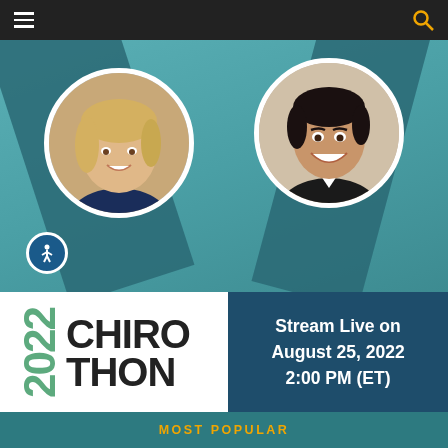[Figure (screenshot): Website navigation bar with hamburger menu icon on left and search icon on right, dark background]
[Figure (photo): Promotional banner for 2022 ChiroThon event. Teal/green background with two circular portrait photos - a blonde woman on the left and a dark-haired man on the right. Features 2022 ChiroThon logo and text: Stream Live on August 25, 2022 2:00 PM (ET)]
Stream Live on August 25, 2022 2:00 PM (ET)
MOST POPULAR